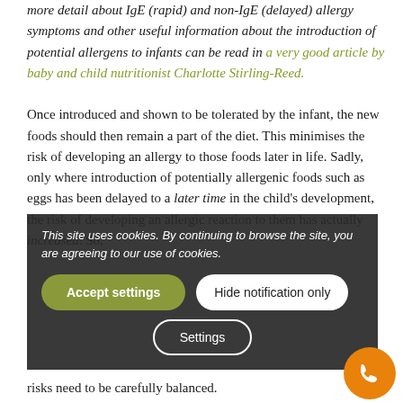more detail about IgE (rapid) and non-IgE (delayed) allergy symptoms and other useful information about the introduction of potential allergens to infants can be read in a very good article by baby and child nutritionist Charlotte Stirling-Reed.
Once introduced and shown to be tolerated by the infant, the new foods should then remain a part of the diet. This minimises the risk of developing an allergy to those foods later in life. Sadly, only where introduction of potentially allergenic foods such as eggs has been delayed to a later time in the child's development, the risk of developing an allergic reaction to them has actually increased. So, risks need to be carefully balanced.
[Figure (other): Cookie consent overlay with message 'This site uses cookies. By continuing to browse the site, you are agreeing to our use of cookies.' and buttons: 'Accept settings', 'Hide notification only', 'Settings']